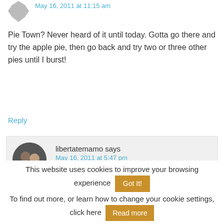[Figure (illustration): Partial view of a grey avatar icon at the top left, with a blue date/time link cut off at the top]
Pie Town? Never heard of it until today. Gotta go there and try the apple pie, then go back and try two or three other pies until I burst!
Reply
libertatemamo says
May 16, 2011 at 5:47 pm
[Figure (photo): Circular avatar photo of a man and woman together]
Oh there are SOOOO many good flavors...
This website uses cookies to improve your browsing experience   Got It!
To find out more, or learn how to change your cookie settings, click here   Read more